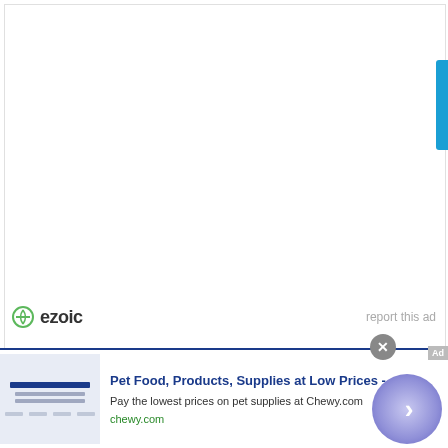[Figure (other): Ezoic advertisement placeholder area with white background and blue side tab]
ezoic
report this ad
infolinks
Pet Food, Products, Supplies at Low Prices -
Pay the lowest prices on pet supplies at Chewy.com
chewy.com